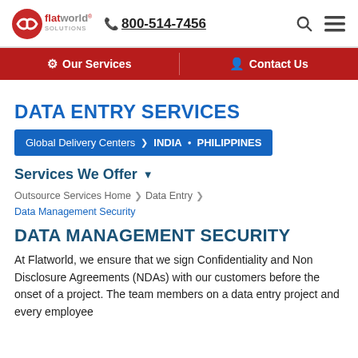flatworld solutions | 800-514-7456
Our Services | Contact Us
DATA ENTRY SERVICES
Global Delivery Centers > INDIA • PHILIPPINES
Services We Offer
Outsource Services Home > Data Entry > Data Management Security
DATA MANAGEMENT SECURITY
At Flatworld, we ensure that we sign Confidentiality and Non Disclosure Agreements (NDAs) with our customers before the onset of a project. The team members on a data entry project and every employee